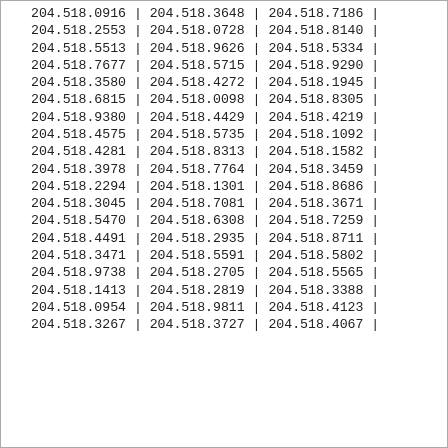204.518.0916 | 204.518.3648 | 204.518.7186 |
204.518.2553 | 204.518.0728 | 204.518.8140 |
204.518.5513 | 204.518.9626 | 204.518.5334 |
204.518.7677 | 204.518.5715 | 204.518.9290 |
204.518.3580 | 204.518.4272 | 204.518.1945 |
204.518.6815 | 204.518.0098 | 204.518.8305 |
204.518.9380 | 204.518.4429 | 204.518.4219 |
204.518.4575 | 204.518.5735 | 204.518.1092 |
204.518.4281 | 204.518.8313 | 204.518.1582 |
204.518.3978 | 204.518.7764 | 204.518.3459 |
204.518.2294 | 204.518.1301 | 204.518.8686 |
204.518.3045 | 204.518.7081 | 204.518.3671 |
204.518.5470 | 204.518.6308 | 204.518.7259 |
204.518.4491 | 204.518.2935 | 204.518.8711 |
204.518.3471 | 204.518.5591 | 204.518.5802 |
204.518.9738 | 204.518.2705 | 204.518.5565 |
204.518.1413 | 204.518.2819 | 204.518.3388 |
204.518.0954 | 204.518.9811 | 204.518.4123 |
204.518.3267 | 204.518.3727 | 204.518.4067 |